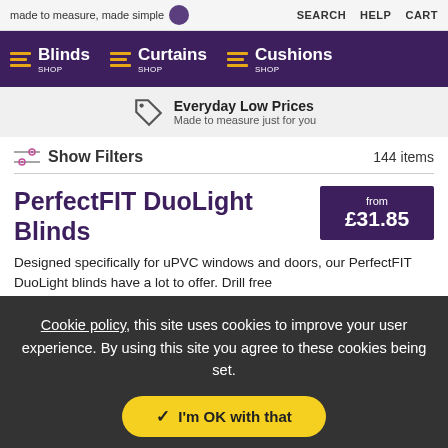made to measure, made simple | SEARCH  HELP  CART
SHOP Blinds  SHOP Curtains  SHOP Cushions
Everyday Low Prices — Made to measure just for you
Show Filters — 144 items
PerfectFIT DuoLight Blinds
from £31.85
Designed specifically for uPVC windows and doors, our PerfectFIT DuoLight blinds have a lot to offer. Drill free...
Cookie policy, this site uses cookies to improve your user experience. By using this site you agree to these cookies being set.
I'm OK with that